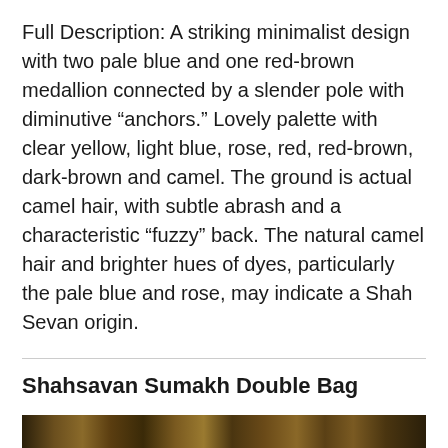Full Description: A striking minimalist design with two pale blue and one red-brown medallion connected by a slender pole with diminutive “anchors.” Lovely palette with clear yellow, light blue, rose, red, red-brown, dark-brown and camel. The ground is actual camel hair, with subtle abrash and a characteristic “fuzzy” back. The natural camel hair and brighter hues of dyes, particularly the pale blue and rose, may indicate a Shah Sevan origin.
Shahsavan Sumakh Double Bag
[Figure (photo): Partial view of a textile/rug at the bottom of the page, showing dark brown and tan woven pattern]